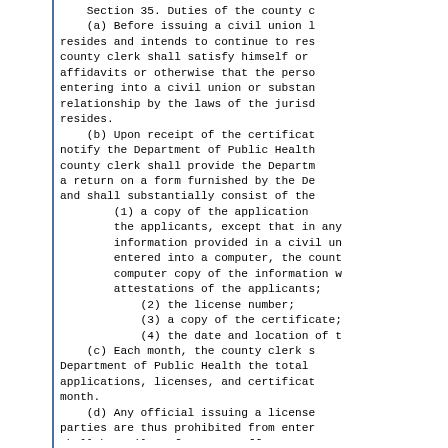Section 35. Duties of the county c
    (a) Before issuing a civil union l
resides and intends to continue to res
county clerk shall satisfy himself or
affidavits or otherwise that the perso
entering into a civil union or substan
relationship by the laws of the jurisd
resides.
    (b) Upon receipt of the certificat
notify the Department of Public Health
county clerk shall provide the Departm
a return on a form furnished by the De
and shall substantially consist of the
        (1) a copy of the application
        the applicants, except that in any
        information provided in a civil un
        entered into a computer, the count
        computer copy of the information w
        attestations of the applicants;
            (2) the license number;
            (3) a copy of the certificate;
            (4) the date and location of t
    (c) Each month, the county clerk s
Department of Public Health the total
applications, licenses, and certificat
month.
    (d) Any official issuing a license
parties are thus prohibited from enter
shall be guilty of a petty offense.